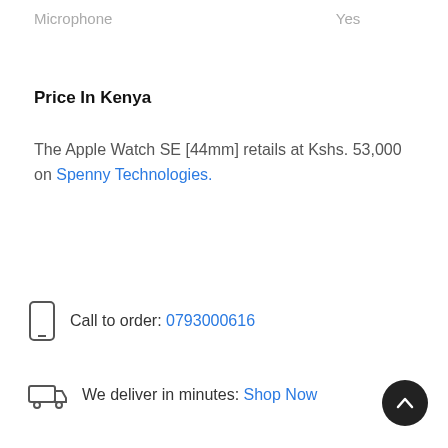| Feature | Value |
| --- | --- |
| Microphone | Yes |
Price In Kenya
The Apple Watch SE [44mm] retails at Kshs. 53,000 on Spenny Technologies.
Call to order: 0793000616
We deliver in minutes: Shop Now